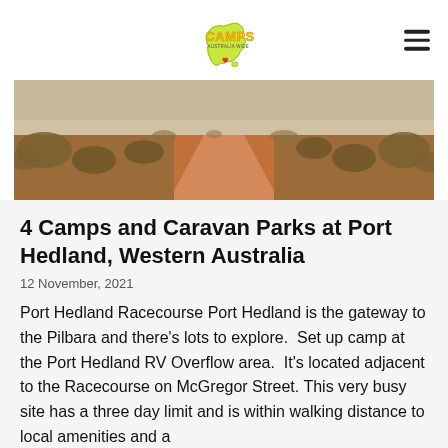Camps Australia Wide
[Figure (photo): Red dirt outback road with scrubby bushes on either side stretching into the distance under a hazy sky.]
4 Camps and Caravan Parks at Port Hedland, Western Australia
12 November, 2021
Port Hedland Racecourse Port Hedland is the gateway to the Pilbara and there’s lots to explore.  Set up camp at the Port Hedland RV Overflow area.  It’s located adjacent to the Racecourse on McGregor Street. This very busy site has a three day limit and is within walking distance to local amenities and a